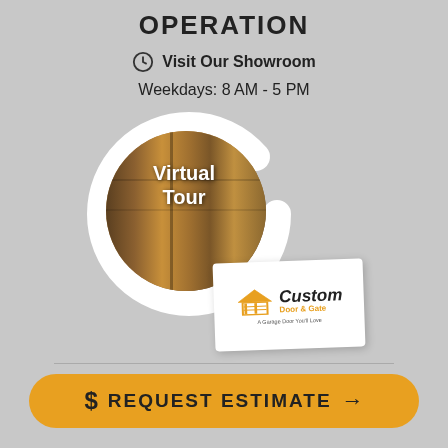OPERATION
Visit Our Showroom
Weekdays: 8 AM - 5 PM
[Figure (illustration): Virtual Tour circular graphic with a showroom photo inside an arrow ring, overlaid with 'Virtual Tour' text, and a Custom Door & Gate logo card in the lower right]
$ REQUEST ESTIMATE →